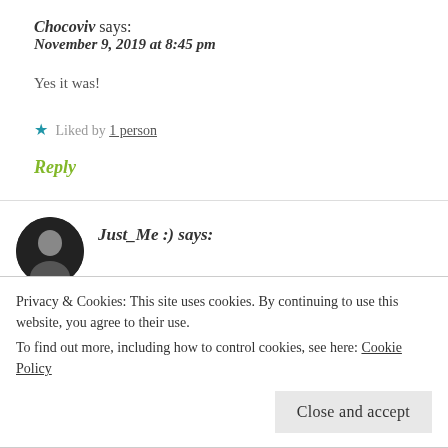Chocoviv says: November 9, 2019 at 8:45 pm
Yes it was!
★ Liked by 1 person
Reply
Just_Me :) says:
Privacy & Cookies: This site uses cookies. By continuing to use this website, you agree to their use.
To find out more, including how to control cookies, see here: Cookie Policy
Close and accept